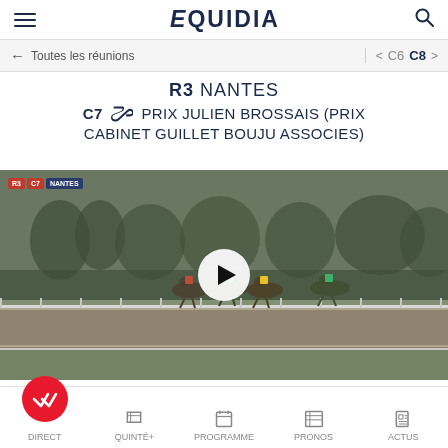EQUIDIA
← Toutes les réunions    < C6  C8 >
R3 NANTES
C7 🏇 PRIX JULIEN BROSSAIS (PRIX CABINET GUILLET BOUJU ASSOCIES)
[Figure (screenshot): Video thumbnail of a horse race at Nantes, showing horses and jockeys racing on a track in misty conditions. Badges showing R3, C7, NANTES overlay the top-left. A play button is centered on the image.]
DIRECT  QUINTÉ+  PROGRAMME  PRONOS  ACTUS